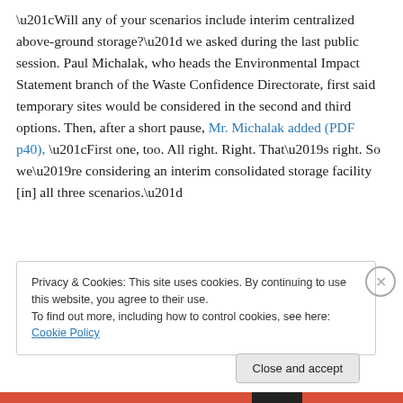“Will any of your scenarios include interim centralized above-ground storage?” we asked during the last public session. Paul Michalak, who heads the Environmental Impact Statement branch of the Waste Confidence Directorate, first said temporary sites would be considered in the second and third options. Then, after a short pause, Mr. Michalak added (PDF p40), “First one, too. All right. Right. That’s right. So we’re considering an interim consolidated storage facility [in] all three scenarios.”
Privacy & Cookies: This site uses cookies. By continuing to use this website, you agree to their use. To find out more, including how to control cookies, see here: Cookie Policy